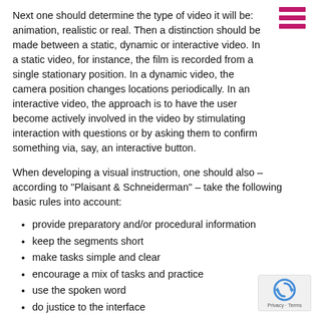Next one should determine the type of video it will be: animation, realistic or real. Then a distinction should be made between a static, dynamic or interactive video. In a static video, for instance, the film is recorded from a single stationary position. In a dynamic video, the camera position changes locations periodically. In an interactive video, the approach is to have the user become actively involved in the video by stimulating interaction with questions or by asking them to confirm something via, say, an interactive button.
When developing a visual instruction, one should also – according to "Plaisant & Schneiderman" – take the following basic rules into account:
provide preparatory and/or procedural information
keep the segments short
make tasks simple and clear
encourage a mix of tasks and practice
use the spoken word
do justice to the interface
demonstrate in order to draw attention